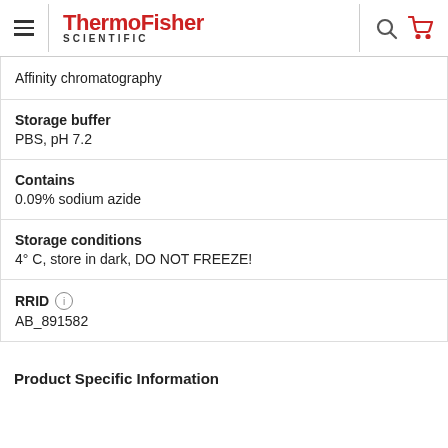ThermoFisher SCIENTIFIC
Affinity chromatography
Storage buffer
PBS, pH 7.2
Contains
0.09% sodium azide
Storage conditions
4° C, store in dark, DO NOT FREEZE!
RRID
AB_891582
Product Specific Information